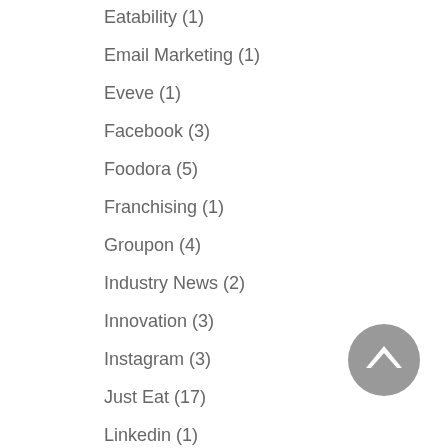Eatability (1)
Email Marketing (1)
Eveve (1)
Facebook (3)
Foodora (5)
Franchising (1)
Groupon (4)
Industry News (2)
Innovation (3)
Instagram (3)
Just Eat (17)
Linkedin (1)
marketing (15)
Menulog (31)
Michelin (1)
[Figure (illustration): Gray circular back-to-top button with upward chevron arrow]